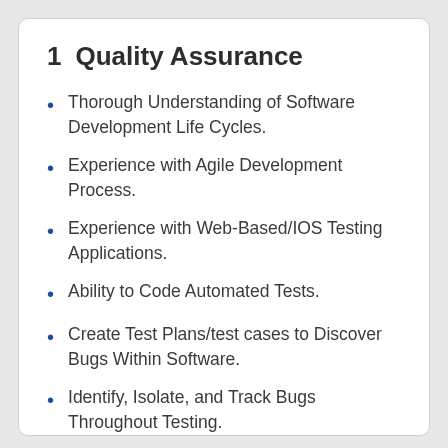1   Quality Assurance
Thorough Understanding of Software Development Life Cycles.
Experience with Agile Development Process.
Experience with Web-Based/IOS Testing Applications.
Ability to Code Automated Tests.
Create Test Plans/test cases to Discover Bugs Within Software.
Identify, Isolate, and Track Bugs Throughout Testing.